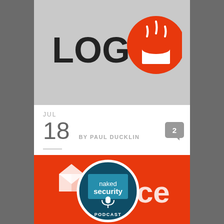[Figure (logo): Log4J logo with Java coffee cup icon on grey background]
JUL
18 BY PAUL DUCKLIN
8 months on, US says Log4Shell will be around for “a decade or longer”
[Figure (logo): Naked Security Podcast logo on orange/red background with Office-style icon]